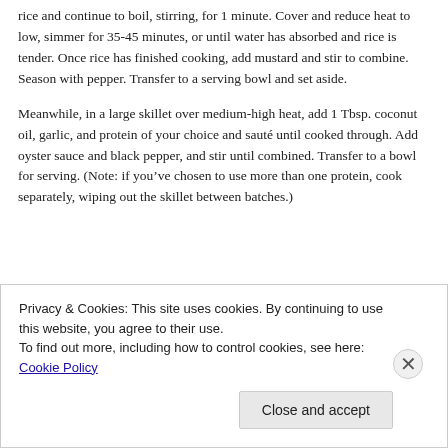rice and continue to boil, stirring, for 1 minute. Cover and reduce heat to low, simmer for 35-45 minutes, or until water has absorbed and rice is tender. Once rice has finished cooking, add mustard and stir to combine. Season with pepper. Transfer to a serving bowl and set aside.
Meanwhile, in a large skillet over medium-high heat, add 1 Tbsp. coconut oil, garlic, and protein of your choice and sauté until cooked through. Add oyster sauce and black pepper, and stir until combined. Transfer to a bowl for serving. (Note: if you've chosen to use more than one protein, cook separately, wiping out the skillet between batches.)
Privacy & Cookies: This site uses cookies. By continuing to use this website, you agree to their use.
To find out more, including how to control cookies, see here: Cookie Policy